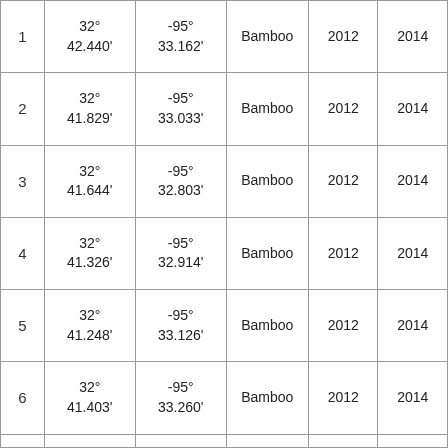| 1 | 32°
42.440' | -95°
33.162' | Bamboo | 2012 | 2014 |
| 2 | 32°
41.829' | -95°
33.033' | Bamboo | 2012 | 2014 |
| 3 | 32°
41.644' | -95°
32.803' | Bamboo | 2012 | 2014 |
| 4 | 32°
41.326' | -95°
32.914' | Bamboo | 2012 | 2014 |
| 5 | 32°
41.248' | -95°
33.126' | Bamboo | 2012 | 2014 |
| 6 | 32°
41.403' | -95°
33.260' | Bamboo | 2012 | 2014 |